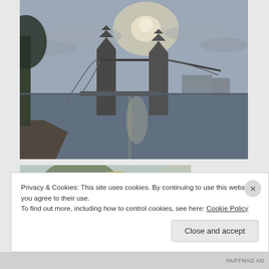[Figure (photo): Photo of Tower Bridge in London over the River Thames, taken from the riverbank. Trees visible on left, overcast bright sky with sun visible through clouds. Bridge towers prominent in mid-ground. Moody, slightly dark tones.]
[Figure (photo): Partially visible photo of trees and foliage along a riverside, with autumn-colored leaves and what appears to be a building or structure in the lower left. Slightly blurred/out of focus.]
Privacy & Cookies: This site uses cookies. By continuing to use this website, you agree to their use.
To find out more, including how to control cookies, see here: Cookie Policy
Close and accept
NUFFNAG AD